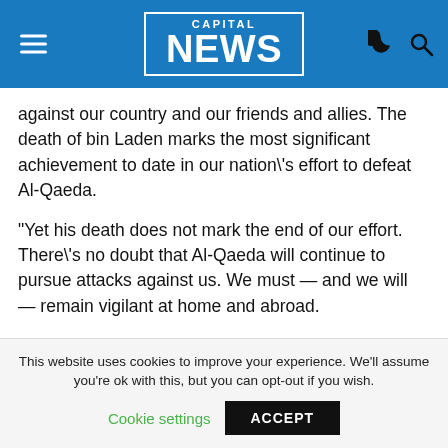CAPITAL NEWS
against our country and our friends and allies. The death of bin Laden marks the most significant achievement to date in our nation\'s effort to defeat Al-Qaeda.
"Yet his death does not mark the end of our effort. There\'s no doubt that Al-Qaeda will continue to pursue attacks against us. We must — and we will — remain vigilant at home and abroad.
"As we do, we must also reaffirm that the United States is not — and never will be — at war with Islam. I\'ve made clear, just as President Bush did shortly after 9/11, that
This website uses cookies to improve your experience. We'll assume you're ok with this, but you can opt-out if you wish.
Cookie settings   ACCEPT